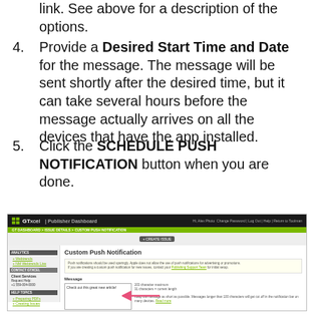4. Provide a Desired Start Time and Date for the message. The message will be sent shortly after the desired time, but it can take several hours before the message actually arrives on all the devices that have the app installed.
5. Click the SCHEDULE PUSH NOTIFICATION button when you are done.
[Figure (screenshot): Screenshot of GTxcel Publisher Dashboard showing Custom Push Notification form with a message field, character count indicator, and a pink arrow pointing to the current length display.]